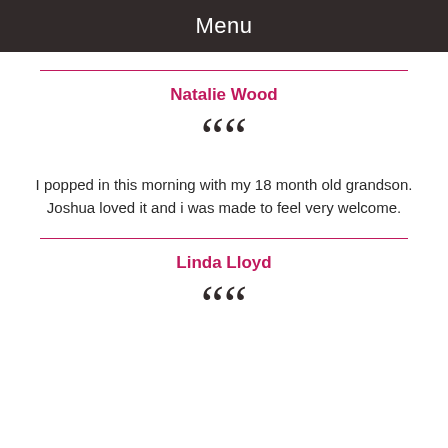Menu
Natalie Wood
I popped in this morning with my 18 month old grandson. Joshua loved it and i was made to feel very welcome.
Linda Lloyd